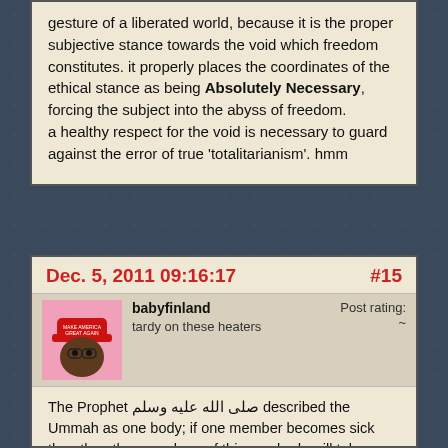gesture of a liberated world, because it is the proper subjective stance towards the void which freedom constitutes. it properly places the coordinates of the ethical stance as being Absolutely Necessary, forcing the subject into the abyss of freedom.
a healthy respect for the void is necessary to guard against the error of true 'totalitarianism'. hmm
Dec. 5, 2011 09:16:17   #15
babyfinland
tardy on these heaters
Post rating: ~
The Prophet صلى الله عليه وسلم described the Ummah as one body; if one member becomes sick then the other members of this one body will take care of the sick one:

"The Believers, in their mutual love, mercy and compassion, are like one body: if one organ complained, the rest of the body develops a fever."